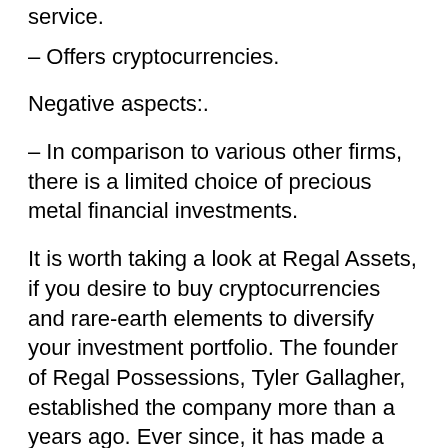service.
– Offers cryptocurrencies.
Negative aspects:.
– In comparison to various other firms, there is a limited choice of precious metal financial investments.
It is worth taking a look at Regal Assets, if you desire to buy cryptocurrencies and rare-earth elements to diversify your investment portfolio. The founder of Regal Possessions, Tyler Gallagher, established the company more than a years ago. Ever since, it has made a track record as a trustworthy gold individual retirement account company. It is a member of the Forbes Financing Council